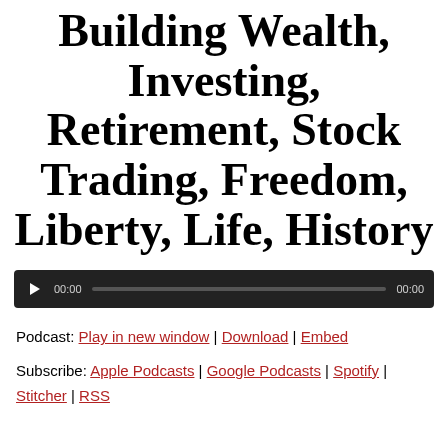Building Wealth, Investing, Retirement, Stock Trading, Freedom, Liberty, Life, History
[Figure (other): Audio player widget with dark background, play button, time display showing 00:00, progress bar, and end time 00:00]
Podcast: Play in new window | Download | Embed
Subscribe: Apple Podcasts | Google Podcasts | Spotify | Stitcher | RSS